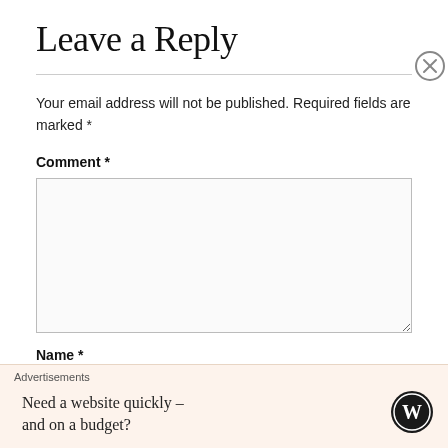Leave a Reply
Your email address will not be published. Required fields are marked *
Comment *
[Figure (screenshot): Comment text area input box, empty, with resize handle at bottom right]
Name *
[Figure (screenshot): Name text input field, empty]
Advertisements
Need a website quickly – and on a budget?